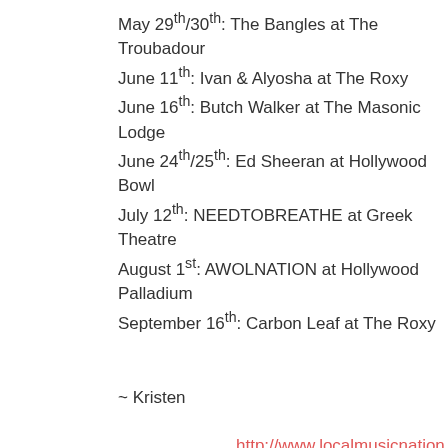May 29th/30th: The Bangles at The Troubadour
June 11th: Ivan & Alyosha at The Roxy
June 16th: Butch Walker at The Masonic Lodge
June 24th/25th: Ed Sheeran at Hollywood Bowl
July 12th: NEEDTOBREATHE at Greek Theatre
August 1st: AWOLNATION at Hollywood Palladium
September 16th: Carbon Leaf at The Roxy
~ Kristen
http://www.localmusicnation.net/
https://twitter.com/_localmusicnat